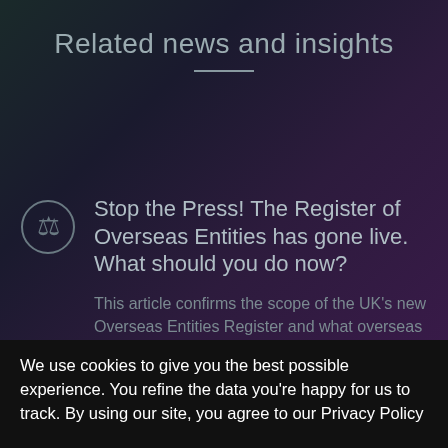Related news and insights
Stop the Press! The Register of Overseas Entities has gone live. What should you do now?
This article confirms the scope of the UK's new Overseas Entities Register and what overseas entities need to do now the register is live
We use cookies to give you the best possible experience. You refine the data you're happy for us to track. By using our site, you agree to our Privacy Policy